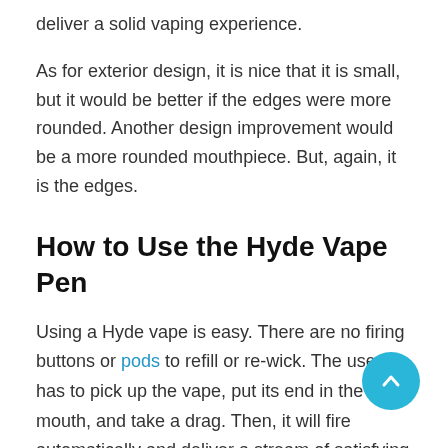deliver a solid vaping experience.
As for exterior design, it is nice that it is small, but it would be better if the edges were more rounded. Another design improvement would be a more rounded mouthpiece. But, again, it is the edges.
How to Use the Hyde Vape Pen
Using a Hyde vape is easy. There are no firing buttons or pods to refill or re-wick. The user has to pick up the vape, put its end in the mouth, and take a drag. Then, it will fire automatically and deliver a stream of satisfying vapor that is to die for.
Once the product is depleted, throw it away in the